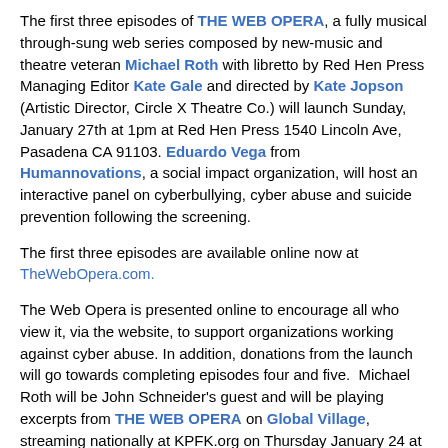The first three episodes of THE WEB OPERA, a fully musical through-sung web series composed by new-music and theatre veteran Michael Roth with libretto by Red Hen Press Managing Editor Kate Gale and directed by Kate Jopson (Artistic Director, Circle X Theatre Co.) will launch Sunday, January 27th at 1pm at Red Hen Press 1540 Lincoln Ave, Pasadena CA 91103. Eduardo Vega from Humannovations, a social impact organization, will host an interactive panel on cyberbullying, cyber abuse and suicide prevention following the screening.
The first three episodes are available online now at TheWebOpera.com.
The Web Opera is presented online to encourage all who view it, via the website, to support organizations working against cyber abuse. In addition, donations from the launch will go towards completing episodes four and five. Michael Roth will be John Schneider's guest and will be playing excerpts from THE WEB OPERA on Global Village, streaming nationally at KPFK.org on Thursday January 24 at 11AM PST. interview is posted here - https://www.thewebopera.com/reviews
THE WEB OPERA is a unique experiment in music